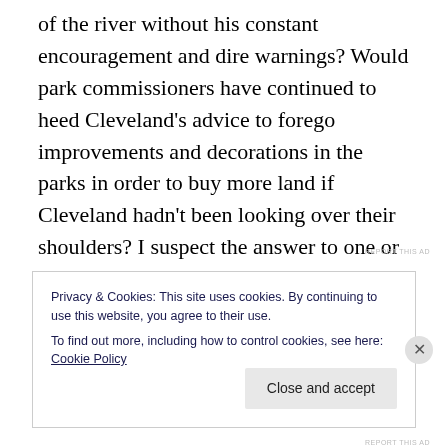of the river without his constant encouragement and dire warnings? Would park commissioners have continued to heed Cleveland’s advice to forego improvements and decorations in the parks in order to buy more land if Cleveland hadn’t been looking over their shoulders? I suspect the answer to one or all of those questions is “No!”
REPORT THIS AD
Privacy & Cookies: This site uses cookies. By continuing to use this website, you agree to their use.
To find out more, including how to control cookies, see here: Cookie Policy
Close and accept
REPORT THIS AD